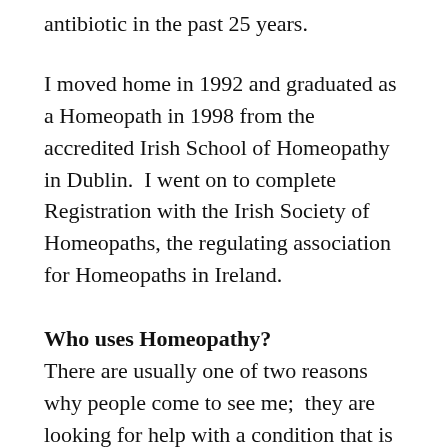antibiotic in the past 25 years.
I moved home in 1992 and graduated as a Homeopath in 1998 from the accredited Irish School of Homeopathy in Dublin.  I went on to complete Registration with the Irish Society of Homeopaths, the regulating association for Homeopaths in Ireland.
Who uses Homeopathy?
There are usually one of two reasons why people come to see me;  they are looking for help with a condition that is not getting better in spite of taking their prescriptions from the doctor; or after investigation they have decided on trying natural treatment for themselves or